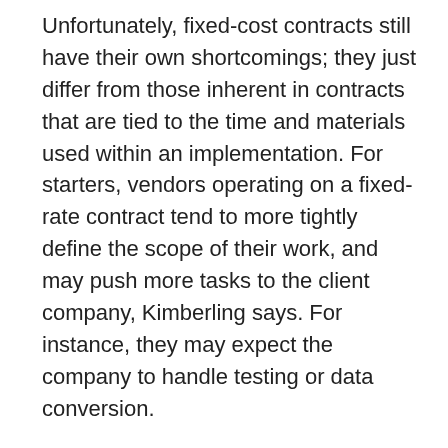Unfortunately, fixed-cost contracts still have their own shortcomings; they just differ from those inherent in contracts that are tied to the time and materials used within an implementation. For starters, vendors operating on a fixed-rate contract tend to more tightly define the scope of their work, and may push more tasks to the client company, Kimberling says. For instance, they may expect the company to handle testing or data conversion.
There's nothing wrong with this, of course. But it highlights the divergence between the interests of the vendor and those of the client company. “The CFO wants a fixed bid and predictable costs, but the vendor is incented to minimize the scope of the project,” Kimberling says.
In addition, it’s not unusual for the vendors to bump